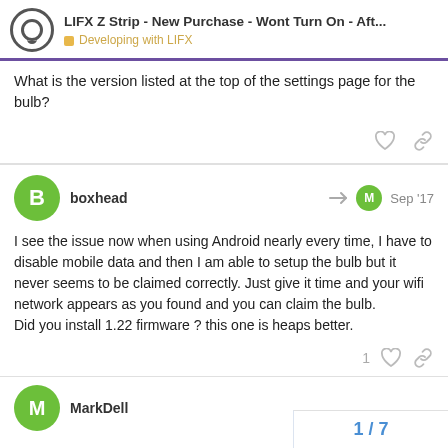LIFX Z Strip - New Purchase - Wont Turn On - Aft... | Developing with LIFX
What is the version listed at the top of the settings page for the bulb?
boxhead  Sep '17
I see the issue now when using Android nearly every time, I have to disable mobile data and then I am able to setup the bulb but it never seems to be claimed correctly. Just give it time and your wifi network appears as you found and you can claim the bulb.
Did you install 1.22 firmware ? this one is heaps better.
MarkDell
1 / 7